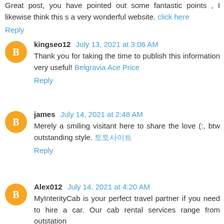Great post, you have pointed out some fantastic points , I likewise think this s a very wonderful website. click here
Reply
kingseo12  July 13, 2021 at 3:06 AM
Thank you for taking the time to publish this information very useful! Belgravia Ace Price
Reply
james  July 14, 2021 at 2:48 AM
Merely a smiling visitant here to share the love (:, btw outstanding style. 토토사이트
Reply
Alex012  July 14, 2021 at 4:20 AM
MyInterityCab is your perfect travel partner if you need to hire a car. Our cab rental services range from outstation